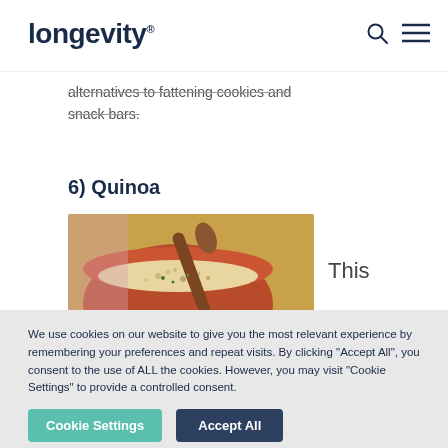longevity®
alternatives to fattening cookies and snack bars.
6) Quinoa
[Figure (photo): A bowl of quinoa with a wooden spoon, seen from above at an angle, warm brown tones.]
This
We use cookies on our website to give you the most relevant experience by remembering your preferences and repeat visits. By clicking "Accept All", you consent to the use of ALL the cookies. However, you may visit "Cookie Settings" to provide a controlled consent.